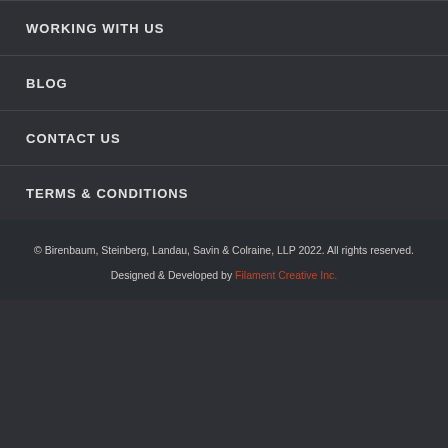WORKING WITH US
BLOG
CONTACT US
TERMS & CONDITIONS
© Birenbaum, Steinberg, Landau, Savin & Colraine, LLP 2022. All rights reserved.
Designed & Developed by Filament Creative Inc.